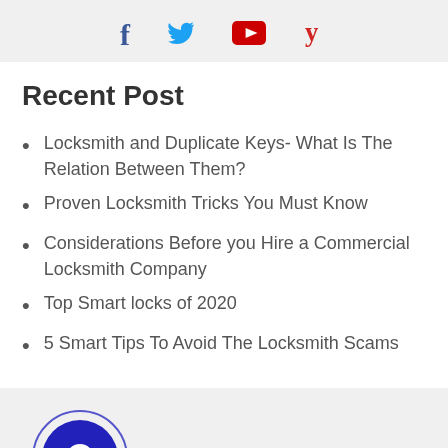[Figure (other): Social media icons: Facebook (f), Twitter bird, YouTube play button, Yelp logo]
Recent Post
Locksmith and Duplicate Keys- What Is The Relation Between Them?
Proven Locksmith Tricks You Must Know
Considerations Before you Hire a Commercial Locksmith Company
Top Smart locks of 2020
5 Smart Tips To Avoid The Locksmith Scams
[Figure (other): WhatsApp phone icon in a blue circle with outer ring border]